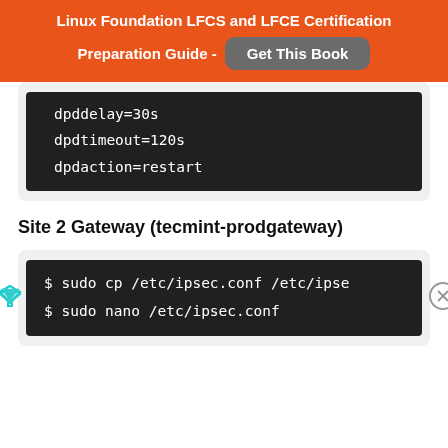Linux Foundation LFCS and LFCE Certification Preparation Guide - Get This Book
dpddelay=30s
dpdtimeout=120s
dpdaction=restart
Site 2 Gateway (tecmint-prodgateway)
$ sudo cp /etc/ipsec.conf /etc/ips
$ sudo nano /etc/ipsec.conf